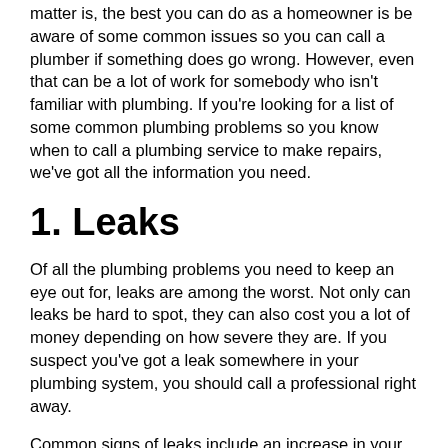matter is, the best you can do as a homeowner is be aware of some common issues so you can call a plumber if something does go wrong. However, even that can be a lot of work for somebody who isn't familiar with plumbing. If you're looking for a list of some common plumbing problems so you know when to call a plumbing service to make repairs, we've got all the information you need.
1. Leaks
Of all the plumbing problems you need to keep an eye out for, leaks are among the worst. Not only can leaks be hard to spot, they can also cost you a lot of money depending on how severe they are. If you suspect you've got a leak somewhere in your plumbing system, you should call a professional right away.
Common signs of leaks include an increase in your water bill, a mold or mildew smell in your home and a water meter that keeps running. If you don't get a leak fixed in a timely manner, it will continue to get worse over time and eventually cause serious damage or a massive increase in your monthly water